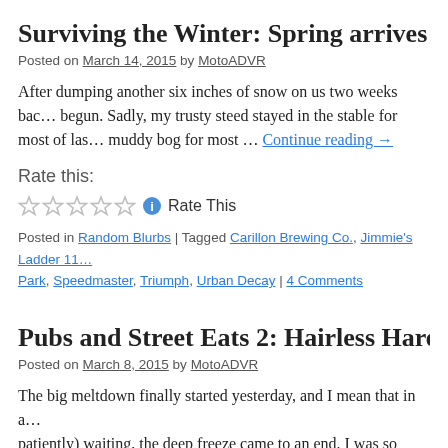Surviving the Winter: Spring arrives at last…
Posted on March 14, 2015 by MotoADVR
After dumping another six inches of snow on us two weeks back, spring has finally begun. Sadly, my trusty steed stayed in the stable for most of last … muddy bog for most … Continue reading →
Rate this:
☆☆☆☆☆ ℹ Rate This
Posted in Random Blurbs | Tagged Carillon Brewing Co., Jimmie's Ladder 11, Park, Speedmaster, Triumph, Urban Decay | 4 Comments
Pubs and Street Eats 2: Hairless Hare Bre…
Posted on March 8, 2015 by MotoADVR
The big meltdown finally started yesterday, and I mean that in a… patiently) waiting, the deep freeze came to an end. I was so anxi…